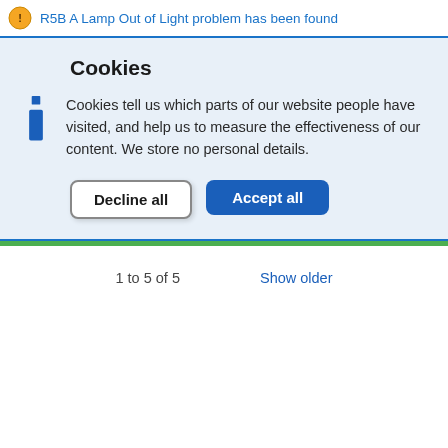R5B A Lamp Out of Light problem has been found
Cookies
Cookies tell us which parts of our website people have visited, and help us to measure the effectiveness of our content. We store no personal details.
Decline all
Accept all
1 to 5 of 5
Show older